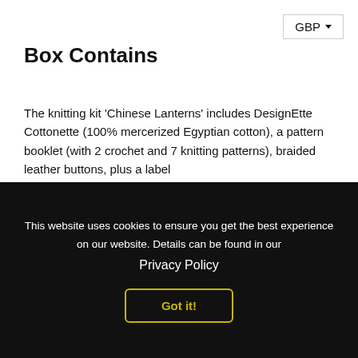GBP ▾
Box Contains
The knitting kit 'Chinese Lanterns' includes DesignEtte Cottonette (100% mercerized Egyptian cotton), a pattern booklet (with 2 crochet and 7 knitting patterns), braided leather buttons, plus a label
[Figure (other): Social share buttons: DEL (Facebook), TWEET (Twitter), PIN DET (Pinterest)]
DU VIL MULIGVIS OGSÅ SYNES OM
This website uses cookies to ensure you get the best experience on our website. Details can be found in our Privacy Policy
Got it!